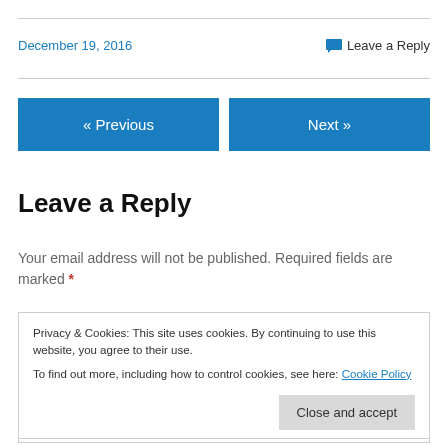December 19, 2016
Leave a Reply
« Previous
Next »
Leave a Reply
Your email address will not be published. Required fields are marked *
Privacy & Cookies: This site uses cookies. By continuing to use this website, you agree to their use.
To find out more, including how to control cookies, see here: Cookie Policy
Close and accept